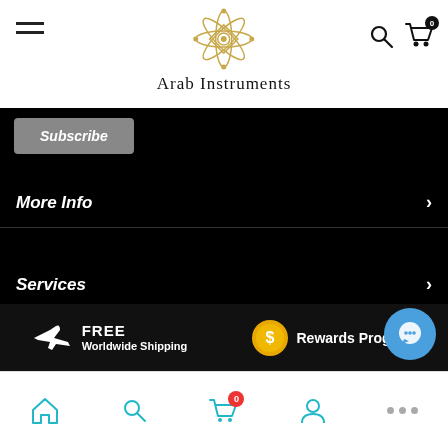[Figure (screenshot): Arab Instruments website header with logo (decorative gold ornament), site name 'Arab Instruments', hamburger menu icon on left, search and cart (0) icons on right]
[Figure (screenshot): Subscribe button (grey), then navigation menu items on black background: More Info, Services, Instagram each with right chevron arrows]
Prices and offers are subject to change. © 2022 arabinstruments.com . All rights reserved.
[Figure (infographic): FREE Worldwide Shipping promo with airplane icon, and Rewards Program promo with gold dollar coin icon]
[Figure (screenshot): Bottom navigation bar with home, search, cart (0 badge), profile icons, and chat bubble button with three dots]